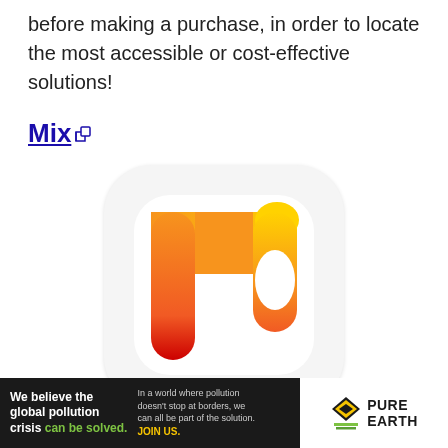before making a purchase, in order to locate the most accessible or cost-effective solutions!
Mix
[Figure (logo): Mix app logo: rounded square icon with orange/red/yellow gradient letter M shape on white background]
mix
[Figure (infographic): Pure Earth advertisement banner: dark left section with 'We believe the global pollution crisis can be solved.' and right section with Pure Earth logo and diamond icon]